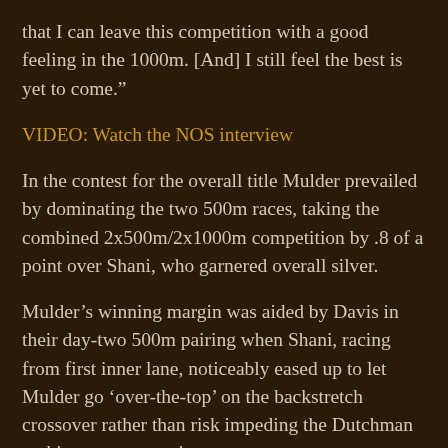that I can leave this competition with a good feeling in the 1000m. [And] I still feel the best is yet to come.”
VIDEO: Watch the NOS interview
In the contest for the overall title Mulder prevailed by dominating the two 500m races, taking the combined 2x500m/2x1000m competition by .8 of a point over Shani, who garnered overall silver.
Mulder’s winning margin was aided by Davis in their day-two 500m pairing when Shani, racing from first inner lane, noticeably eased up to let Mulder go ‘over-the-top’ on the backstretch crossover rather than risk impeding the Dutchman on his way to sure victory.
Said Davis: “it was an instinctive split-second